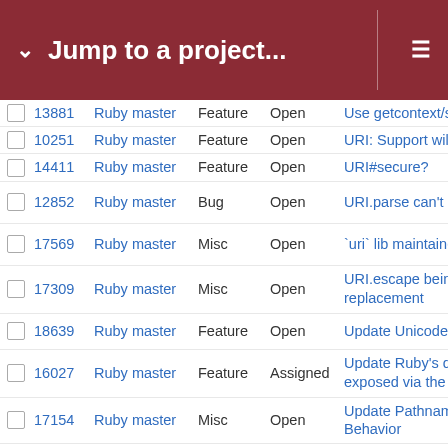Jump to a project...
|  | # | Project | Type | Status | Title |
| --- | --- | --- | --- | --- | --- |
|  | 13881 | Ruby master | Feature | Open | Use getcontext/se |
|  | 10251 | Ruby master | Feature | Open | URI: Support wildc |
|  | 14411 | Ruby master | Feature | Open | URI#secure? |
|  | 12852 | Ruby master | Bug | Open | URI.parse can't ha |
|  | 17569 | Ruby master | Misc | Open | `uri` lib maintainer |
|  | 17309 | Ruby master | Misc | Open | URI.escape being replacement |
|  | 18639 | Ruby master | Feature | Open | Update Unicode d |
|  | 16027 | Ruby master | Feature | Assigned | Update Ruby's dtr exposed via the Ti |
|  | 17154 | Ruby master | Misc | Open | Update Pathname Behavior |
|  | 11690 | Ruby master | Feature | Open | Update Hash duri |
|  | 17562 | Ruby master | Feature | Open | Update -E option i |
|  | 17420 | Ruby master | Bug | Open | Unsafe mutation o require in Ractor |
|  | 15413 | Ruby master | Feature | Open | unmarkable C sta |
|  | 11625 | Ruby master | Feature | Assigned | Unlock GVL for Sh |